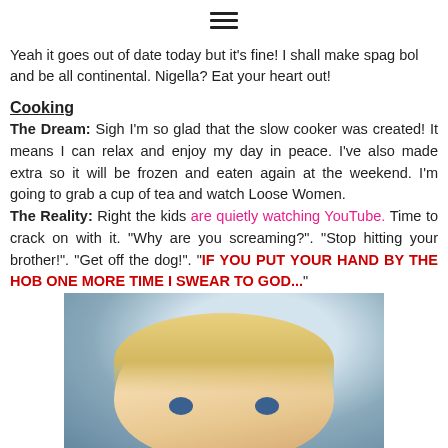[Figure (other): Hamburger menu icon (three horizontal lines)]
Yeah it goes out of date today but it's fine! I shall make spag bol and be all continental. Nigella? Eat your heart out!
Cooking
The Dream: Sigh I'm so glad that the slow cooker was created! It means I can relax and enjoy my day in peace. I've also made extra so it will be frozen and eaten again at the weekend. I'm going to grab a cup of tea and watch Loose Women.
The Reality: Right the kids are quietly watching YouTube. Time to crack on with it. "Why are you screaming?". "Stop hitting your brother!". "Get off the dog!". "IF YOU PUT YOUR HAND BY THE HOB ONE MORE TIME I SWEAR TO GOD..."
[Figure (photo): Close-up photo of a young blonde child's face, partially cropped, with a window visible in the background.]